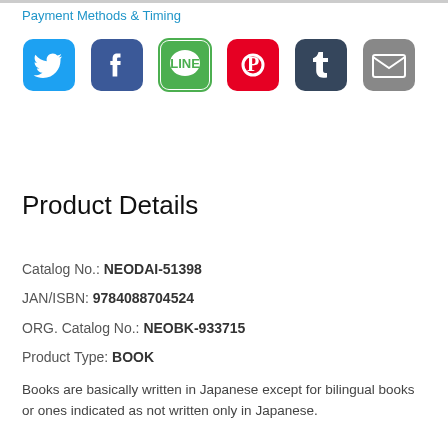Payment Methods & Timing
[Figure (illustration): Six social media share icons in a row: Twitter (blue bird), Facebook (blue f), LINE (green chat bubble), Pinterest (red P), Tumblr (dark blue t), Email (gray envelope)]
Product Details
Catalog No.: NEODAI-51398
JAN/ISBN: 9784088704524
ORG. Catalog No.: NEOBK-933715
Product Type: BOOK
Books are basically written in Japanese except for bilingual books or ones indicated as not written only in Japanese.